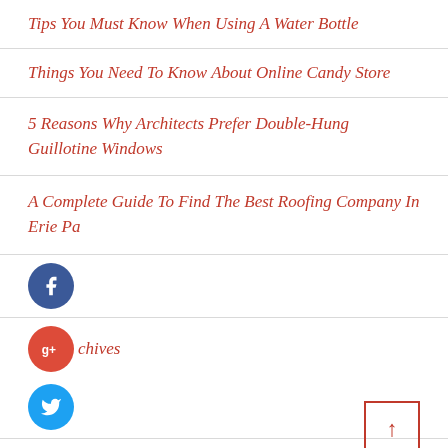Tips You Must Know When Using A Water Bottle
Things You Need To Know About Online Candy Store
5 Reasons Why Architects Prefer Double-Hung Guillotine Windows
A Complete Guide To Find The Best Roofing Company In Erie Pa
[Figure (infographic): Social media share buttons: Facebook (blue circle with f), Google+ (red circle with g+), Twitter (light blue circle with bird), and a dark plus/add button. Also shows Archives section header with Google+ button overlapping.]
August 2022
July 2022